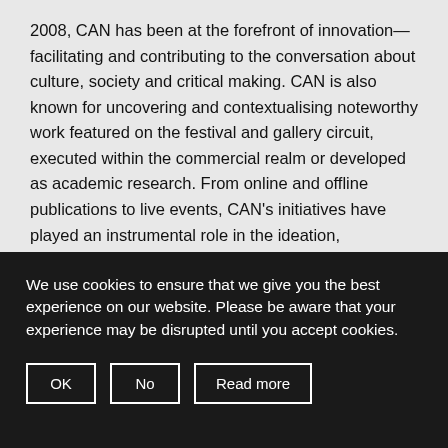2008, CAN has been at the forefront of innovation—facilitating and contributing to the conversation about culture, society and critical making. CAN is also known for uncovering and contextualising noteworthy work featured on the festival and gallery circuit, executed within the commercial realm or developed as academic research. From online and offline publications to live events, CAN's initiatives have played an instrumental role in the ideation, development and critique of a multitude of computational tools, projects and collaborations — always promoting critical dialogue, disciplinary
We use cookies to ensure that we give you the best experience on our website. Please be aware that your experience may be disrupted until you accept cookies.
OK
No
Read more